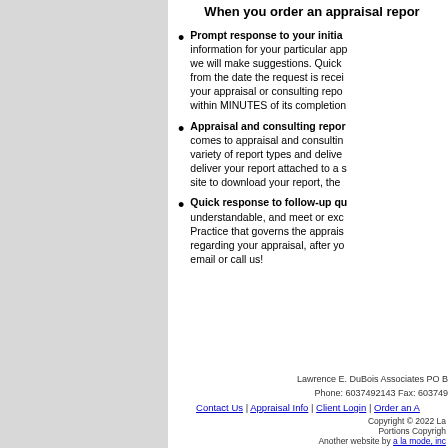When you order an appraisal report
Prompt response to your initial — information for your particular app we will make suggestions. Quick from the date the request is received your appraisal or consulting report within MINUTES of its completion
Appraisal and consulting reports — comes to appraisal and consulting variety of report types and delivered deliver your report attached to a s site to download your report, the
Quick response to follow-up questions — understandable, and meet or exc Practice that governs the apprais regarding your appraisal, after you email or call us!
Lawrence E. DuBois Associates PO B Phone: 6037492143 Fax: 603749 Contact Us | Appraisal Info | Client Login | Order an A Copyright © 2022 La Portions Copyrigh Another website by a la mode, inc